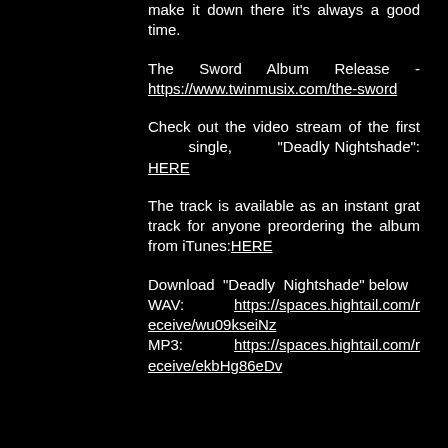make it down there it's always a good time.
The Sword Album Release - https://www.twinmusix.com/the-sword
Check out the video stream of the first single, "Deadly Nightshade": HERE
The track is available as an instant grat track for anyone preordering the album from iTunes:HERE
Download "Deadly Nightshade" below
WAV: https://spaces.hightail.com/receive/wu09kseiNz
MP3: https://spaces.hightail.com/receive/ekbHg86eDv